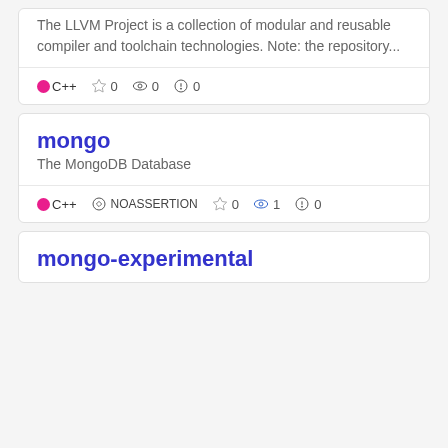The LLVM Project is a collection of modular and reusable compiler and toolchain technologies. Note: the repository...
C++ ☆ 0 👁 0 ⚠ 0
mongo
The MongoDB Database
C++ NOASSERTION ☆ 0 👁 1 ⚠ 0
mongo-experimental